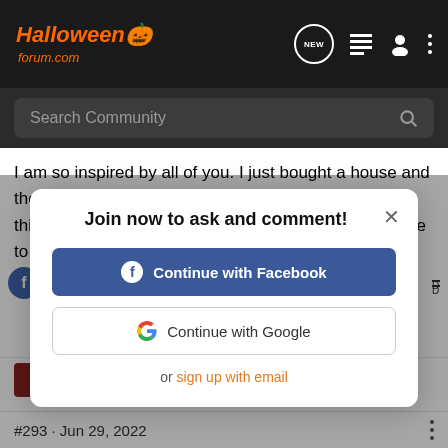HalloweenForum.com
Search Community
I am so inspired by all of you. I just bought a house and the backyard is big! I'd love to grow pumpkins, but I think it's a little late here in NM. I just don't know where to start. I've grown fl... fo...
Join now to ask and comment!
Continue with Facebook
Continue with Google
or sign up with email
Joined Jul 23, 2018 · 1,930 Posts
#293 · Jun 29, 2022